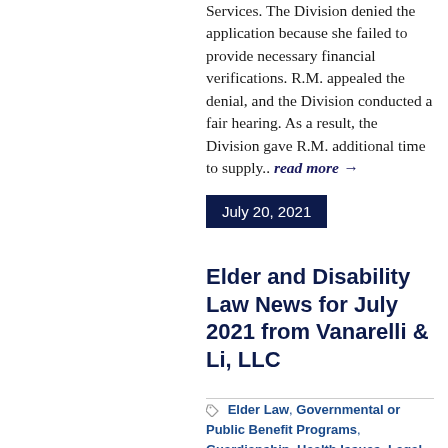Services. The Division denied the application because she failed to provide necessary financial verifications. R.M. appealed the denial, and the Division conducted a fair hearing. As a result, the Division gave R.M. additional time to supply.. read more →
July 20, 2021
Elder and Disability Law News for July 2021 from Vanarelli & Li, LLC
Elder Law, Governmental or Public Benefit Programs, Guardianship, Health Issues, Legal Rights of the Disabled, Medicaid, Medicaid Appeals, Medicaid Applications, Medicaid Planning, Medicare, New Cases, News Briefs, Social Security Benefits, Supplemental Security Income